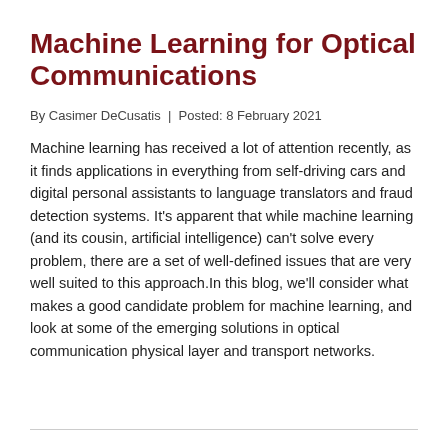Machine Learning for Optical Communications
By Casimer DeCusatis | Posted: 8 February 2021
Machine learning has received a lot of attention recently, as it finds applications in everything from self-driving cars and digital personal assistants to language translators and fraud detection systems. It’s apparent that while machine learning (and its cousin, artificial intelligence) can’t solve every problem, there are a set of well-defined issues that are very well suited to this approach.In this blog, we’ll consider what makes a good candidate problem for machine learning, and look at some of the emerging solutions in optical communication physical layer and transport networks.